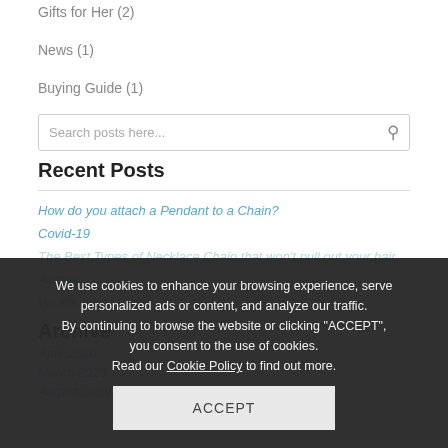Gifts for Her (2)
News (1)
Buying Guide (1)
Recent Posts
How do you attach a Pendant to a Chain?
Covid-19
The Best Types of Necklace Chain that won't pull out your hair
Anchor...
What's a Box Chain?
Archive
April 2020
March 2020
August 2019
We use cookies to enhance your browsing experience, serve personalized ads or content, and analyze our traffic. By continuing to browse the website or clicking "ACCEPT", you consent to the use of cookies. Read our Cookie Policy to find out more.
ACCEPT